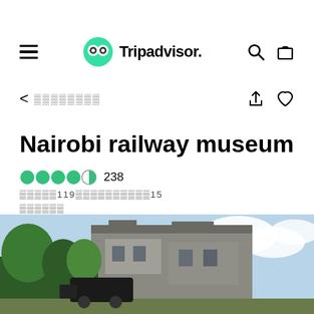Tripadvisor
◁  ░░░░░░░░░
Nairobi railway museum
●●●●○ 238
░░░░░119░░░░░░░░░░15
░░░░░░
░░░░░ ↗   ░░   ░░░
[Figure (photo): Exterior photograph of the Nairobi railway museum building with trees and blue sky]